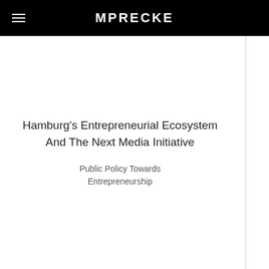MPRECKE
Hamburg's Entrepreneurial Ecosystem And The Next Media Initiative
Public Policy Towards Entrepreneurship